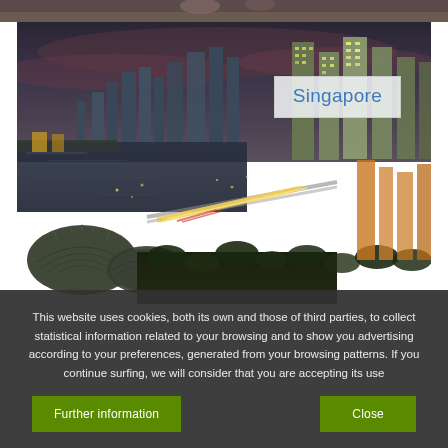[Figure (photo): Aerial night view of Singapore cityscape with skyscrapers, waterfront, a bridge with light trails, and the distinctive dome-shaped Esplanade theatre visible in the lower left. Dark dramatic sky above the glittering urban landscape.]
Singapore
This website uses cookies, both its own and those of third parties, to collect statistical information related to your browsing and to show you advertising according to your preferences, generated from your browsing patterns. If you continue surfing, we will consider that you are accepting its use